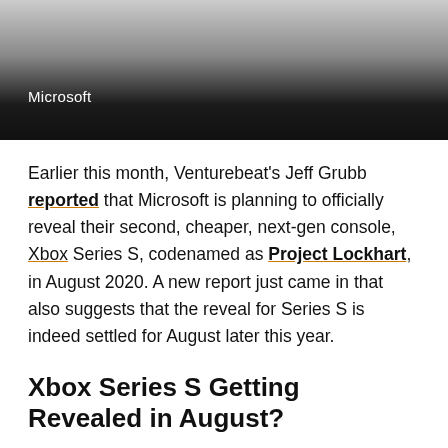Microsoft
Earlier this month, Venturebeat's Jeff Grubb reported that Microsoft is planning to officially reveal their second, cheaper, next-gen console, Xbox Series S, codenamed as Project Lockhart, in August 2020. A new report just came in that also suggests that the reveal for Series S is indeed settled for August later this year.
Xbox Series S Getting Revealed in August?